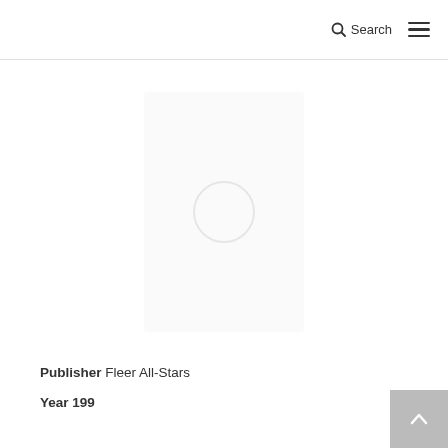Search ≡
[Figure (photo): Loading placeholder for a trading card image — a faint card shape with a loading spinner circle overlay on white background]
Publisher Fleer All-Stars
Year 1993